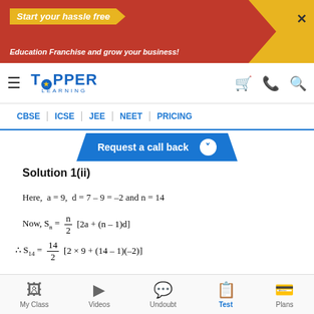[Figure (screenshot): Ad banner: 'Start your hassle free Education Franchise and grow your business!' with close button]
[Figure (logo): Topper Learning logo with hamburger menu and cart/phone/search icons]
CBSE | ICSE | JEE | NEET | PRICING
Request a call back
Solution 1(ii)
Here, a = 9, d = 7 – 9 = –2 and n = 14
[Figure (screenshot): Topper Learning ad overlay: QUESTIONS? Send us a message!]
My Class | Videos | Undoubt | Test | Plans